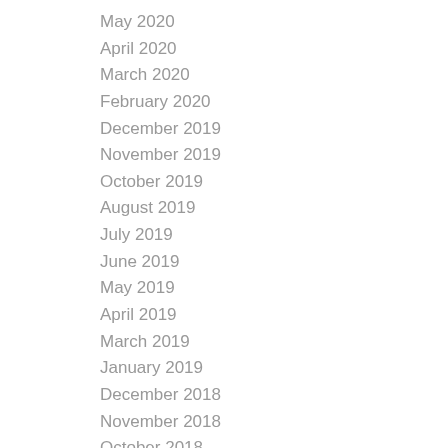May 2020
April 2020
March 2020
February 2020
December 2019
November 2019
October 2019
August 2019
July 2019
June 2019
May 2019
April 2019
March 2019
January 2019
December 2018
November 2018
October 2018